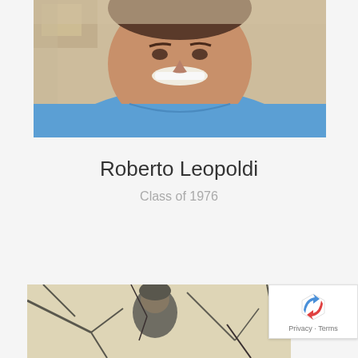[Figure (photo): Close-up selfie photo of a smiling man wearing a blue polo shirt, taken indoors with a chair visible in the background]
Roberto Leopoldi
Class of 1976
[Figure (photo): Black and white vintage yearbook photo of a person, with tree branches visible in the background]